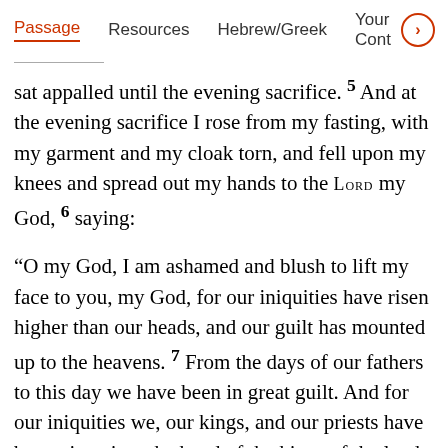Passage   Resources   Hebrew/Greek   Your Cont >
sat appalled until the evening sacrifice. 5 And at the evening sacrifice I rose from my fasting, with my garment and my cloak torn, and fell upon my knees and spread out my hands to the LORD my God, 6 saying:
“O my God, I am ashamed and blush to lift my face to you, my God, for our iniquities have risen higher than our heads, and our guilt has mounted up to the heavens. 7 From the days of our fathers to this day we have been in great guilt. And for our iniquities we, our kings, and our priests have been given into the hand of the kings of the lands, to the sword, to captivity, to plundering, and to utter shame, as it is today. 8 But now for a brief moment favor has been shown by the LORD our God, to